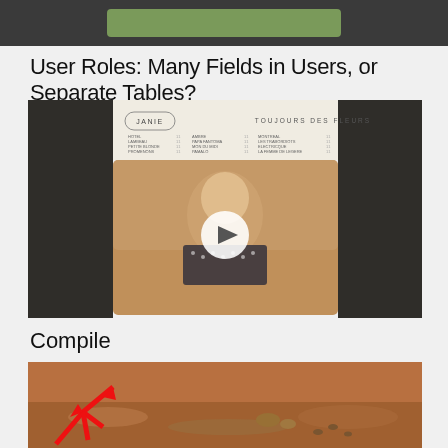[Figure (screenshot): Dark header bar with green button]
User Roles: Many Fields in Users, or Separate Tables?
[Figure (screenshot): Music album cover/player for 'Janie - Toujours des Fleurs' with a video play button overlaying a photo of a blonde woman playing guitar, dark side panels]
Compile
[Figure (photo): Mars surface photo with red arrow annotation pointing to rocks/footprints on reddish-brown terrain]